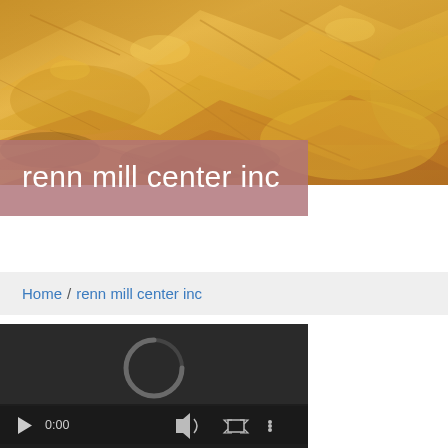[Figure (photo): Close-up photograph of golden/yellow rocky mineral terrain or gold ore, with textured sandy and rocky surfaces in warm golden tones]
renn mill center inc
Home / renn mill center inc
[Figure (screenshot): Video player with dark background, loading spinner visible, showing timestamp 0:00, with play button, volume, fullscreen, and more options icons, and a progress bar at the bottom]